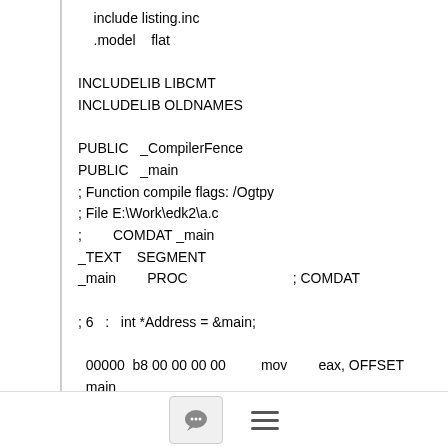include listing.inc
.model    flat

INCLUDELIB LIBCMT
INCLUDELIB OLDNAMES

PUBLIC   _CompilerFence
PUBLIC   _main
; Function compile flags: /Ogtpy
; File E:\Work\edk2\a.c
;        COMDAT _main
_TEXT    SEGMENT
_main        PROC                                    ; COMDAT

; 6   :   int *Address = &main;

  00000  b8 00 00 00 00         mov        eax, OFFSET _main
  00005  8b 00                  mov        eax, DWORD PTR